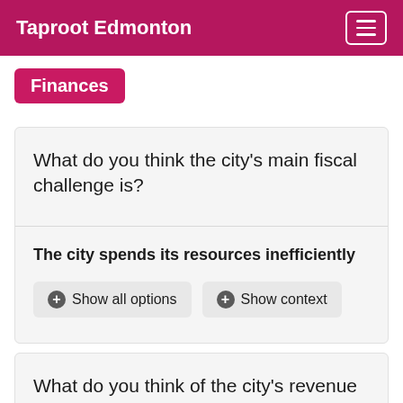Taproot Edmonton
Finances
What do you think the city's main fiscal challenge is?
The city spends its resources inefficiently
+ Show all options
+ Show context
What do you think of the city's revenue